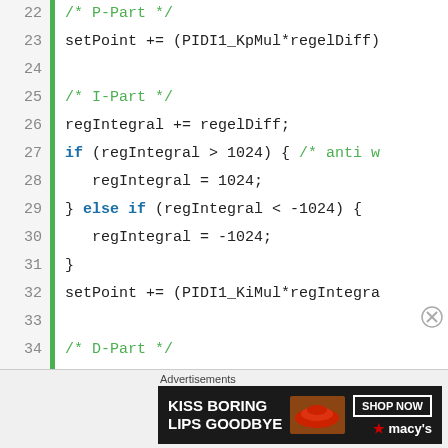[Figure (screenshot): Code editor screenshot showing C/embedded code lines 22-42 implementing PID controller logic with P-Part, I-Part, and D-Part sections]
Advertisements
[Figure (illustration): Macy's advertisement banner: 'KISS BORING LIPS GOODBYE' with SHOP NOW button and Macy's star logo on dark background]